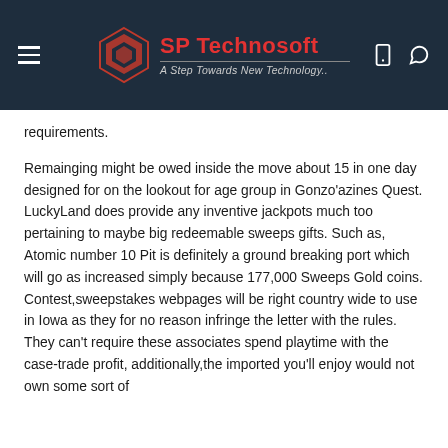SP Technosoft — A Step Towards New Technology
requirements.
Remainging might be owed inside the move about 15 in one day designed for on the lookout for age group in Gonzo'azines Quest. LuckyLand does provide any inventive jackpots much too pertaining to maybe big redeemable sweeps gifts. Such as, Atomic number 10 Pit is definitely a ground breaking port which will go as increased simply because 177,000 Sweeps Gold coins. Contest,sweepstakes webpages will be right country wide to use in Iowa as they for no reason infringe the letter with the rules. They can't require these associates spend playtime with the case-trade profit, additionally,the imported you'll enjoy would not own some sort of